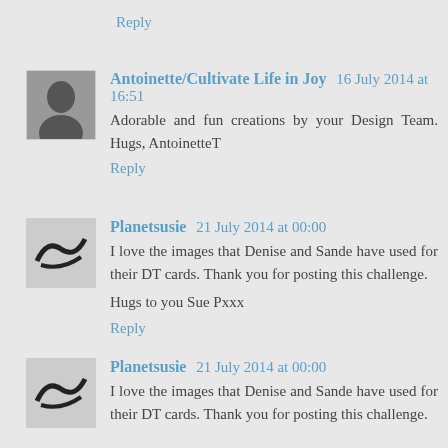Reply
Antoinette/Cultivate Life in Joy 16 July 2014 at 16:51
Adorable and fun creations by your Design Team. Hugs, AntoinetteT
Reply
Planetsusie 21 July 2014 at 00:00
I love the images that Denise and Sande have used for their DT cards. Thank you for posting this challenge.
Hugs to you Sue Pxxx
Reply
Planetsusie 21 July 2014 at 00:00
I love the images that Denise and Sande have used for their DT cards. Thank you for posting this challenge.